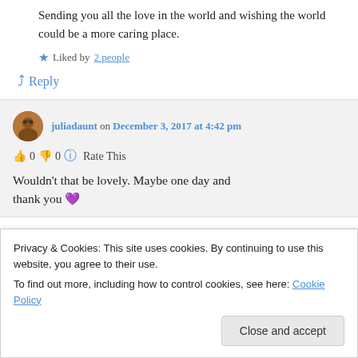Sending you all the love in the world and wishing the world could be a more caring place.
★ Liked by 2 people
↳ Reply
juliadaunt on December 3, 2017 at 4:42 pm
👍 0 👎 0 ℹ️ Rate This
Wouldn't that be lovely. Maybe one day and thank you 💜
Privacy & Cookies: This site uses cookies. By continuing to use this website, you agree to their use.
To find out more, including how to control cookies, see here: Cookie Policy